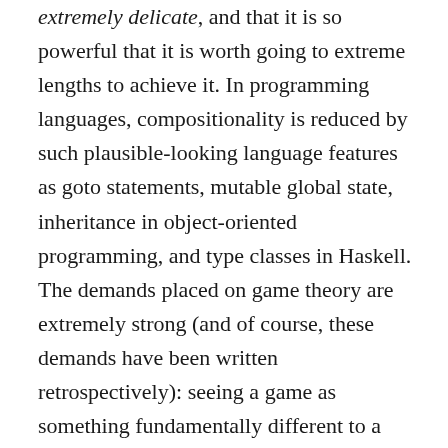extremely delicate, and that it is so powerful that it is worth going to extreme lengths to achieve it. In programming languages, compositionality is reduced by such plausible-looking language features as goto statements, mutable global state, inheritance in object-oriented programming, and type classes in Haskell. The demands placed on game theory are extremely strong (and of course, these demands have been written retrospectively): seeing a game as something fundamentally different to a component of a game such as a player or outcome function breaks compositionality; so does seeing a player as something fundamentally different to an aggregate of players; so does seeing a player as something